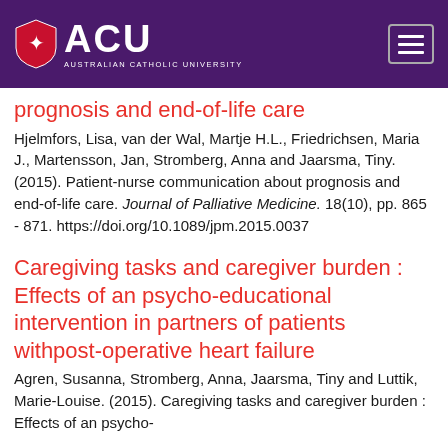[Figure (logo): Australian Catholic University (ACU) logo with shield and hamburger menu on dark purple header background]
prognosis and end-of-life care
Hjelmfors, Lisa, van der Wal, Martje H.L., Friedrichsen, Maria J., Martensson, Jan, Stromberg, Anna and Jaarsma, Tiny. (2015). Patient-nurse communication about prognosis and end-of-life care. Journal of Palliative Medicine. 18(10), pp. 865 - 871. https://doi.org/10.1089/jpm.2015.0037
Caregiving tasks and caregiver burden : Effects of an psycho-educational intervention in partners of patients withpost-operative heart failure
Agren, Susanna, Stromberg, Anna, Jaarsma, Tiny and Luttik, Marie-Louise. (2015). Caregiving tasks and caregiver burden : Effects of an psycho-